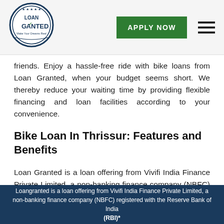[Figure (logo): Loan Granted circular logo with checkmark and text 'Make Your Dreams Real']
friends. Enjoy a hassle-free ride with bike loans from Loan Granted, when your budget seems short. We thereby reduce your waiting time by providing flexible financing and loan facilities according to your convenience.
Bike Loan In Thrissur: Features and Benefits
Loan Granted is a loan offering from Vivifi India Finance Private Limited, a non-banking finance company (NBFC) registered with the Reserve Bank of India (RBI), offering Thrissur's quickest online bike loans that can be disbursed within a day and with a loan provision of
Loangranted is a loan offering from Vivifi India Finance Private Limited, a non-banking finance company (NBFC) registered with the Reserve Bank of India (RBI)*